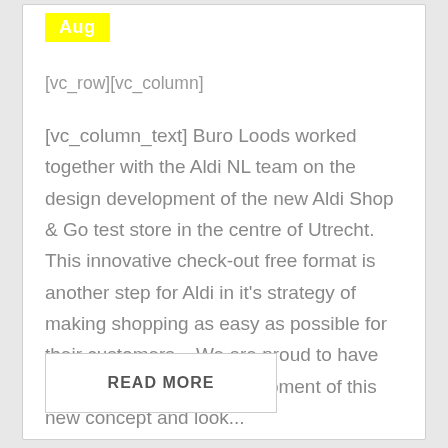Aug
[vc_row][vc_column]
[vc_column_text] Buro Loods worked together with the Aldi NL team on the design development of the new Aldi Shop & Go test store in the centre of Utrecht.   This innovative check-out free format is another step for Aldi in it's strategy of making shopping as easy as possible for their customers.   We are proud to have played a part in the development of this new concept and look...
READ MORE